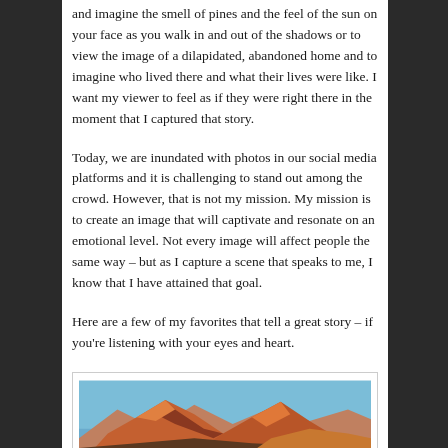and imagine the smell of pines and the feel of the sun on your face as you walk in and out of the shadows or to view the image of a dilapidated, abandoned home and to imagine who lived there and what their lives were like. I want my viewer to feel as if they were right there in the moment that I captured that story.
Today, we are inundated with photos in our social media platforms and it is challenging to stand out among the crowd. However, that is not my mission. My mission is to create an image that will captivate and resonate on an emotional level. Not every image will affect people the same way – but as I capture a scene that speaks to me, I know that I have attained that goal.
Here are a few of my favorites that tell a great story – if you're listening with your eyes and heart.
[Figure (photo): Photograph of orange-red mountain peaks lit by warm sunlight against a blue sky, with rocky terrain in the foreground]